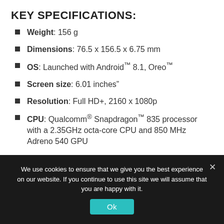KEY SPECIFICATIONS:
Weight: 156 g
Dimensions: 76.5 x 156.5 x 6.75 mm
OS: Launched with Android™ 8.1, Oreo™
Screen size: 6.01 inches"
Resolution: Full HD+, 2160 x 1080p
CPU: Qualcomm® Snapdragon™ 835 processor with a 2.35GHz octa-core CPU and 850 MHz Adreno 540 GPU
We use cookies to ensure that we give you the best experience on our website. If you continue to use this site we will assume that you are happy with it.